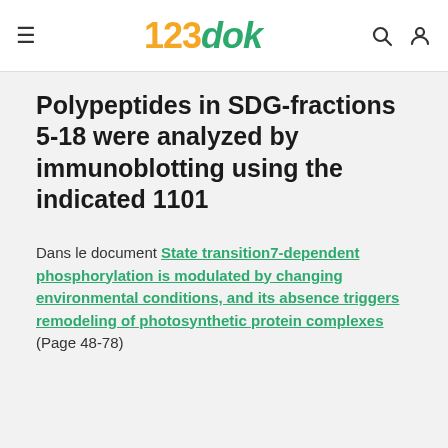123dok
Polypeptides in SDG-fractions 5-18 were analyzed by immunoblotting using the indicated 1101
Dans le document State transition7-dependent phosphorylation is modulated by changing environmental conditions, and its absence triggers remodeling of photosynthetic protein complexes (Page 48-78)